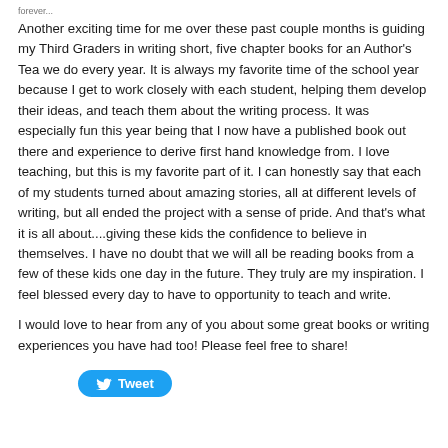forever...
Another exciting time for me over these past couple months is guiding my Third Graders in writing short, five chapter books for an Author's Tea we do every year.  It is always my favorite time of the school year because I get to work closely with each student, helping them develop their ideas, and teach them about the writing process.  It was especially fun this year being that I now have a published book out there and experience to derive first hand knowledge from.  I love teaching, but this is my favorite part of it.  I can honestly say that each of my students turned about amazing stories, all at different levels of writing, but all ended the project with a sense of pride.  And that's what it is all about....giving these kids the confidence to believe in themselves.  I have no doubt that we will all be reading books from a few of these kids one day in the future.  They truly are my inspiration.  I feel blessed every day to have to opportunity to teach and write.
I would love to hear from any of you about some great books or writing experiences you have had too!  Please feel free to share!
[Figure (other): Twitter Tweet button with bird logo]